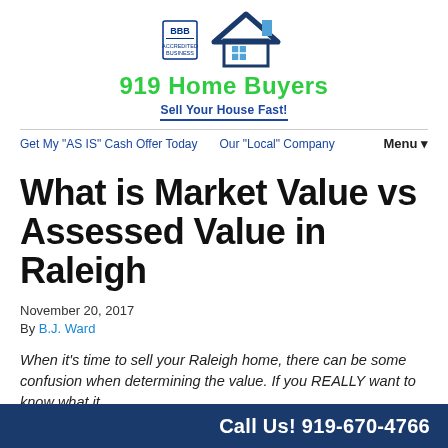[Figure (logo): 919 Home Buyers logo with BBB badge, house icon with blue roof and chimney, green bold text '919 Home Buyers', blue tagline 'Sell Your House Fast!' with underline]
Get My “AS IS” Cash Offer Today   Our “Local” Company   Menu ▼
What is Market Value vs Assessed Value in Raleigh
November 20, 2017
By B.J. Ward
When it’s time to sell your Raleigh home, there can be some confusion when determining the value. If you REALLY want to know what it...
Call Us! 919-670-4766